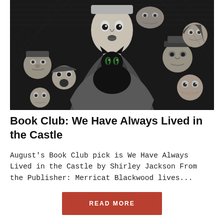[Figure (illustration): Black and white woodcut-style illustration showing a young woman in the center holding a black cat, surrounded by various townspeople with expressive faces — men, women, children with wide eyes, open mouths, suspicious or alarmed expressions, rendered in detailed cross-hatching style.]
Book Club: We Have Always Lived in the Castle
August's Book Club pick is We Have Always Lived in the Castle by Shirley Jackson From the Publisher: Merricat Blackwood lives...
READ MORE